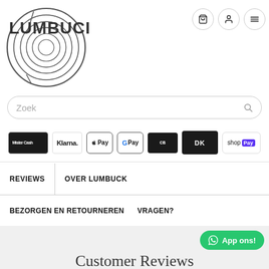[Figure (logo): Lumbuck logo — circular wood grain ring design with LUMBUCK text below]
[Figure (infographic): Navigation icons: cart, user/account, and hamburger menu, each in a circular button]
[Figure (infographic): Search bar with placeholder text 'Zoek' and magnifier icon]
[Figure (infographic): Payment method logos: Mister Cash, Klarna, Apple Pay, G Pay, Carte Bleue, DK, shop Pay]
REVIEWS
OVER LUMBUCK
BEZORGEN EN RETOURNEREN
VRAGEN?
[Figure (infographic): Green 'App ons!' button with WhatsApp icon]
Customer Reviews